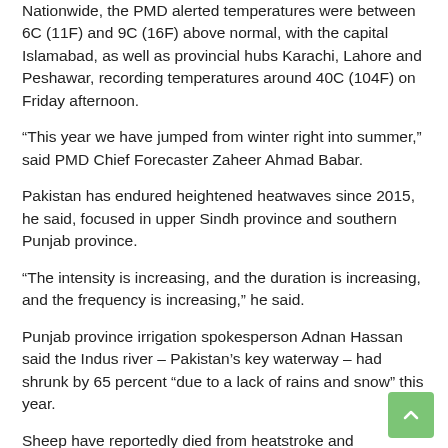Nationwide, the PMD alerted temperatures were between 6C (11F) and 9C (16F) above normal, with the capital Islamabad, as well as provincial hubs Karachi, Lahore and Peshawar, recording temperatures around 40C (104F) on Friday afternoon.
“This year we have jumped from winter right into summer,” said PMD Chief Forecaster Zaheer Ahmad Babar.
Pakistan has endured heightened heatwaves since 2015, he said, focused in upper Sindh province and southern Punjab province.
“The intensity is increasing, and the duration is increasing, and the frequency is increasing,” he said.
Punjab province irrigation spokesperson Adnan Hassan said the Indus river – Pakistan’s key waterway – had shrunk by 65 percent “due to a lack of rains and snow” this year.
Sheep have reportedly died from heatstroke and dehydration in the Cholistan Desert of Punjab, Pakistan’s most populous province which also serves as the national breadbasket.